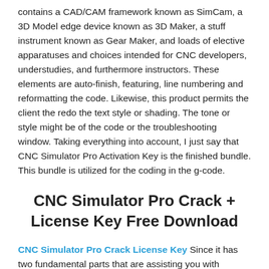contains a CAD/CAM framework known as SimCam, a 3D Model edge device known as 3D Maker, a stuff instrument known as Gear Maker, and loads of elective apparatuses and choices intended for CNC developers, understudies, and furthermore instructors. These elements are auto-finish, featuring, line numbering and reformatting the code. Likewise, this product permits the client the redo the text style or shading. The tone or style might be of the code or the troubleshooting window. Taking everything into account, I just say that CNC Simulator Pro Activation Key is the finished bundle. This bundle is utilized for the coding in the g-code.
CNC Simulator Pro Crack + License Key Free Download
CNC Simulator Pro Crack License Key Since it has two fundamental parts that are assisting you with coding, one